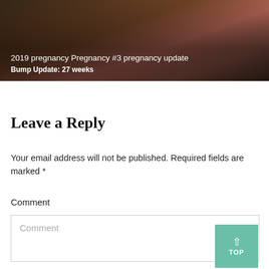[Figure (photo): Medical illustration showing a cross-section of a pregnant uterus with a fetus, overlaid with text about a pregnancy update blog post.]
2019 pregnancy Pregnancy #3 pregnancy update
Bump Update: 27 weeks
Leave a Reply
Your email address will not be published. Required fields are marked *
Comment
Comment